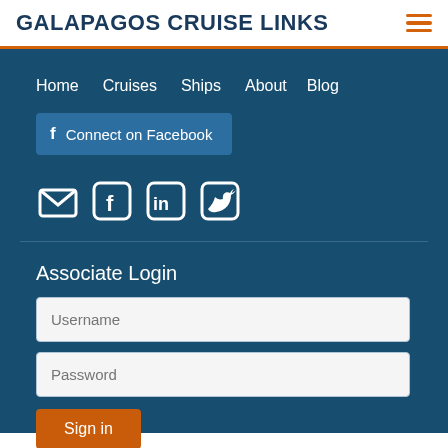GALAPAGOS CRUISE LINKS
[Figure (other): Hamburger menu icon with three orange horizontal lines]
Home   Cruises   Ships   About   Blog
[Figure (other): Facebook Connect button with 'f' icon and text 'Connect on Facebook']
[Figure (other): Social media icons: email/envelope, Facebook, LinkedIn, Twitter]
Associate Login
Username
Password
Sign in